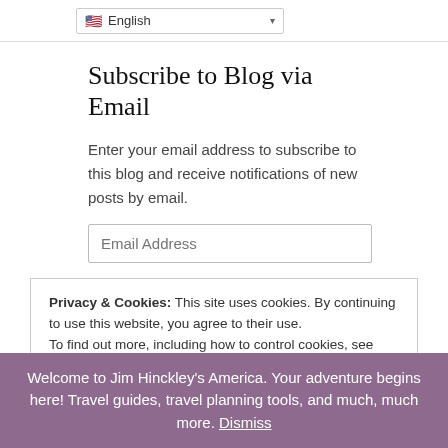English
Subscribe to Blog via Email
Enter your email address to subscribe to this blog and receive notifications of new posts by email.
Email Address
Subscribe
Join 7,442 other subscribers
Jim Hinckley's America
Privacy & Cookies: This site uses cookies. By continuing to use this website, you agree to their use.
To find out more, including how to control cookies, see here: Cookie Policy
Welcome to Jim Hinckley's America. Your adventure begins here! Travel guides, travel planning tools, and much, much more. Dismiss